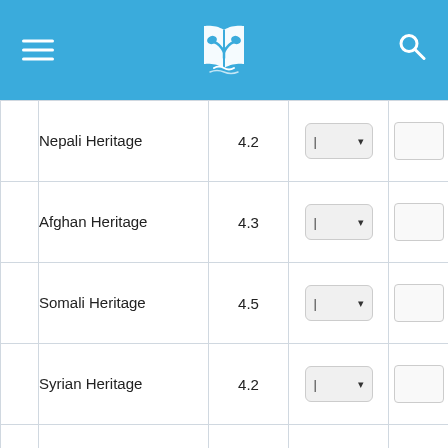Navigation header with logo, hamburger menu, and search icon
|  | Name | Rating | Dropdown | Input |
| --- | --- | --- | --- | --- |
|  | Nepali Heritage | 4.2 | |▾ |  |
|  | Afghan Heritage | 4.3 | |▾ |  |
|  | Somali Heritage | 4.5 | |▾ |  |
|  | Syrian Heritage | 4.2 | |▾ |  |
|  | Venezuelan Heritage | 4.2 | |▾ |  |
|  | Alice H. Parker and the Furnace |  | |▾ |  |
|  | Jane C. Wright |  | |▾ |  |